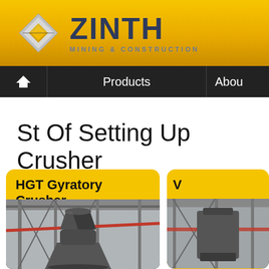[Figure (logo): ZINTH Mining & Construction company logo with geometric diamond-shaped icon and company name]
Products | About
St Of Setting Up Crusher
HGT Gyratory Crusher
[Figure (photo): Industrial HGT Gyratory Crusher machinery in a factory setting with red and blue pipes]
[Figure (photo): Partial view of a second product card with machinery photo]